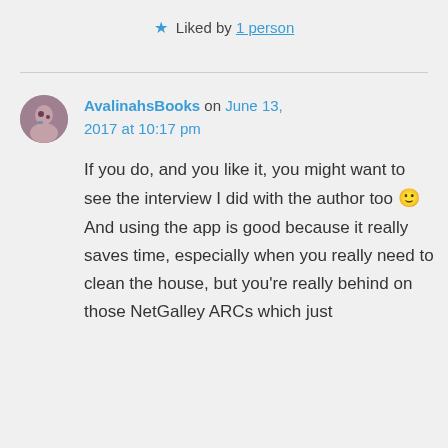★ Liked by 1 person
AvalinahsBooks on June 13, 2017 at 10:17 pm
If you do, and you like it, you might want to see the interview I did with the author too 🙂 And using the app is good because it really saves time, especially when you really need to clean the house, but you're really behind on those NetGalley ARCs which just